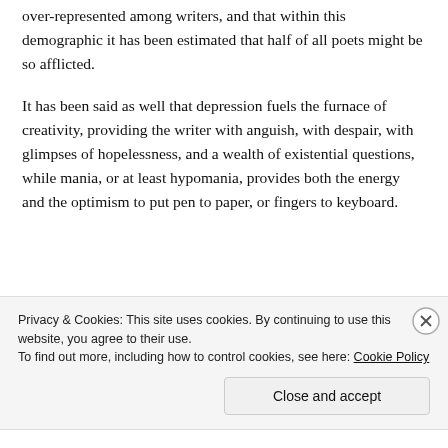over-represented among writers, and that within this demographic it has been estimated that half of all poets might be so afflicted.
It has been said as well that depression fuels the furnace of creativity, providing the writer with anguish, with despair, with glimpses of hopelessness, and a wealth of existential questions, while mania, or at least hypomania, provides both the energy and the optimism to put pen to paper, or fingers to keyboard.
Privacy & Cookies: This site uses cookies. By continuing to use this website, you agree to their use. To find out more, including how to control cookies, see here: Cookie Policy
Close and accept